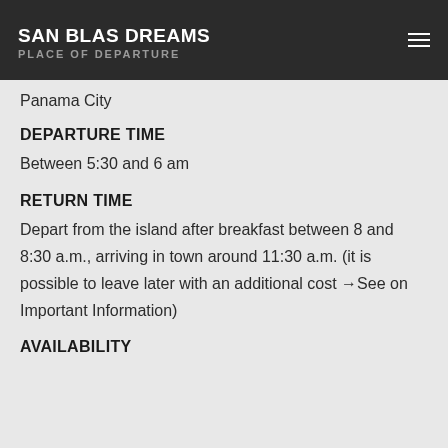SAN BLAS DREAMS
PLACE OF DEPARTURE
Panama City
DEPARTURE TIME
Between 5:30 and 6 am
RETURN TIME
Depart from the island after breakfast between 8 and 8:30 a.m., arriving in town around 11:30 a.m. (it is possible to leave later with an additional cost →See on Important Information)
AVAILABILITY